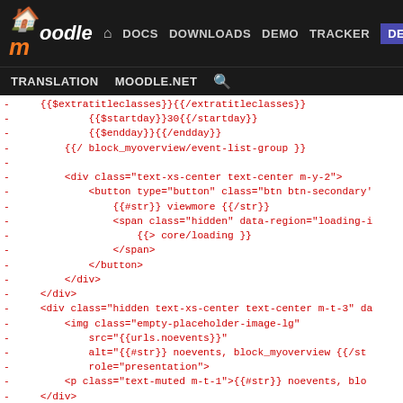moodle DOCS DOWNLOADS DEMO TRACKER DEV TRANSLATION MOODLE.NET
[Figure (screenshot): Moodle developer documentation website header with navigation links: DOCS, DOWNLOADS, DEMO, TRACKER, DEV (highlighted in blue), TRANSLATION, MOODLE.NET, and a search icon.]
- {{$extratitleclasses}}{{/extratitleclasses}}
- {{$startday}}30{{/startday}}
- {{$endday}}{{/endday}}
- {{/ block_myoverview/event-list-group }}
-
- <div class="text-xs-center text-center m-y-2">
- <button type="button" class="btn btn-secondary'
- {{#str}} viewmore {{/str}}
- <span class="hidden" data-region="loading-i
- {{> core/loading }}
- </span>
- </button>
- </div>
- </div>
- <div class="hidden text-xs-center text-center m-t-3" da
- <img class="empty-placeholder-image-lg"
- src="{{urls.noevents}}"
- alt="{{#str}} noevents, block_myoverview {{/st
- role="presentation">
- <p class="text-muted m-t-1">{{#str}} noevents, blo
- </div>
-</div>
-{{#js}}
-require(['jquery', 'block_myoverview/event_list'], function
- var root = $("#event-list-container-{{$courseid}}{{/cou
- EventList.registerEventListeners(root);
- }}